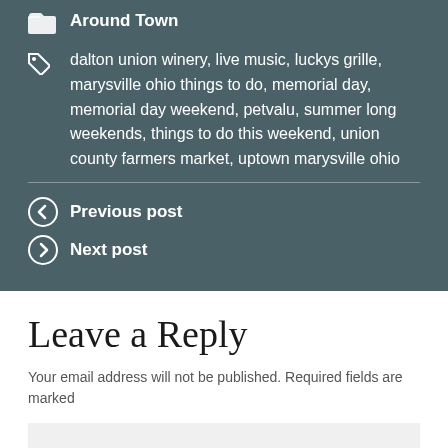Around Town
dalton union winery, live music, luckys grille, marysville ohio things to do, memorial day, memorial day weekend, petvalu, summer long weekends, things to do this weekend, union county farmers market, uptown marysville ohio
Previous post
Next post
Leave a Reply
Your email address will not be published. Required fields are marked